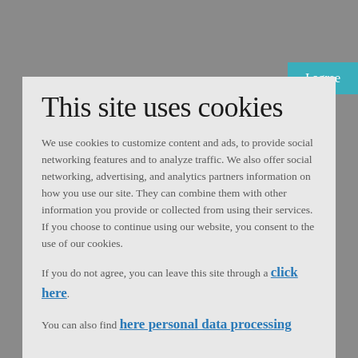This site uses cookies
We use cookies to customize content and ads, to provide social networking features and to analyze traffic. We also offer social networking, advertising, and analytics partners information on how you use our site. They can combine them with other information you provide or collected from using their services. If you choose to continue using our website, you consent to the use of our cookies.
If you do not agree, you can leave this site through a click here.
You can also find here personal data processing